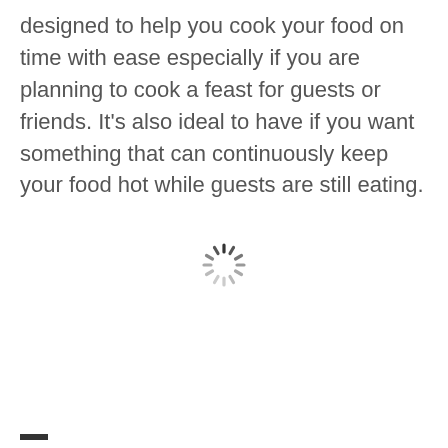designed to help you cook your food on time with ease especially if you are planning to cook a feast for guests or friends. It's also ideal to have if you want something that can continuously keep your food hot while guests are still eating.
[Figure (other): A loading spinner icon (circular spinner with dashes arranged in a radial pattern, dark segments at top-left fading to lighter segments)]